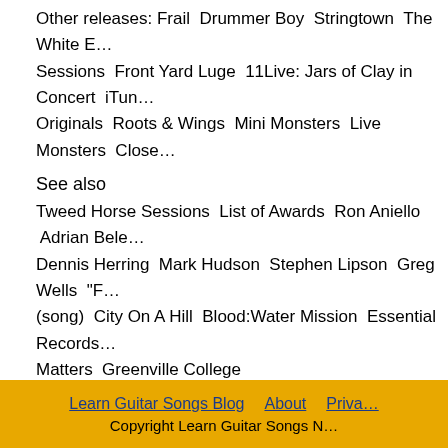Other releases: Frail  Drummer Boy  Stringtown  The White E... Sessions  Front Yard Luge  11Live: Jars of Clay in Concert  iTun... Originals  Roots & Wings  Mini Monsters  Live Monsters  Close...
See also
Tweed Horse Sessions  List of Awards  Ron Aniello  Adrian Bele... Dennis Herring  Mark Hudson  Stephen Lipson  Greg Wells  "F... (song)  City On A Hill  Blood:Water Mission  Essential Records... Matters  Greenville College
Categories: Contemporary Christian music | Grammy Award w... Musical groups from Illinois | American folk rock groups | 199... groups | 2000s music groups | Greenville College | American C... rock groupsHidden categories: Articles needing additional refe... from February 2008 | All articles needing additional reference...
acoustic guitar player magazine forum
Filed under Learn Guitar Songs by Nestor on Jul 7th, 2...
Learn Guitar Songs Blog  About  Priva... Copyright Learn Guitar Songs N...